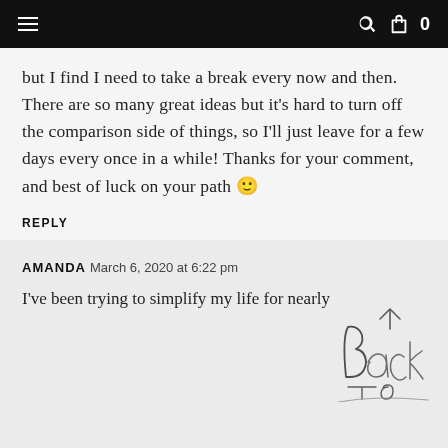≡   🔍 🛍 0
but I find I need to take a break every now and then. There are so many great ideas but it's hard to turn off the comparison side of things, so I'll just leave for a few days every once in a while! Thanks for your comment, and best of luck on your path 🙂
REPLY
AMANDA March 6, 2020 at 6:22 pm
I've been trying to simplify my life for nearly